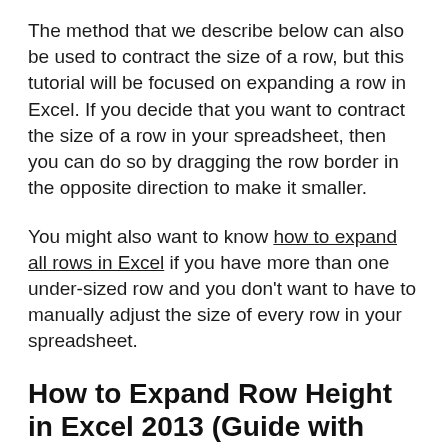The method that we describe below can also be used to contract the size of a row, but this tutorial will be focused on expanding a row in Excel. If you decide that you want to contract the size of a row in your spreadsheet, then you can do so by dragging the row border in the opposite direction to make it smaller.
You might also want to know how to expand all rows in Excel if you have more than one under-sized row and you don't want to have to manually adjust the size of every row in your spreadsheet.
How to Expand Row Height in Excel 2013 (Guide with